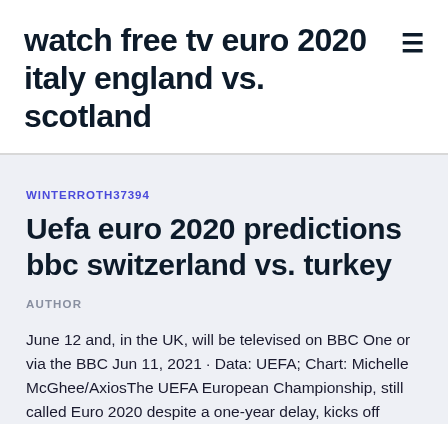watch free tv euro 2020 italy england vs. scotland
WINTERROTH37394
Uefa euro 2020 predictions bbc switzerland vs. turkey
AUTHOR
June 12 and, in the UK, will be televised on BBC One or via the BBC Jun 11, 2021 · Data: UEFA; Chart: Michelle McGhee/AxiosThe UEFA European Championship, still called Euro 2020 despite a one-year delay, kicks off